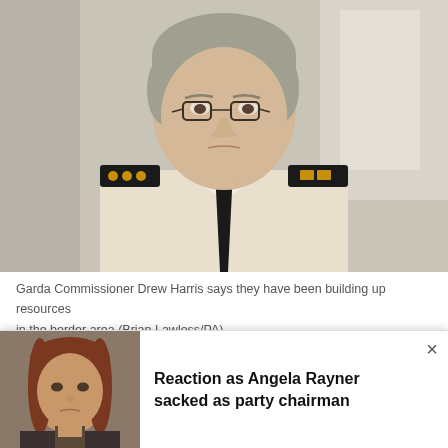[Figure (photo): Garda Commissioner Drew Harris in white uniform shirt with black tie and dark epaulettes bearing gold insignia, wearing glasses, looking downward with a concerned expression. Background is an out-of-focus indoor setting.]
Garda Commissioner Drew Harris says they have been building up resources in the border area (Brian Lawless/PA)
“I’m not going to speculate on what border
[Figure (photo): Woman with reddish-brown hair and bangs looking at camera with a serious expression, outdoors.]
Reaction as Angela Rayner sacked as party chairman